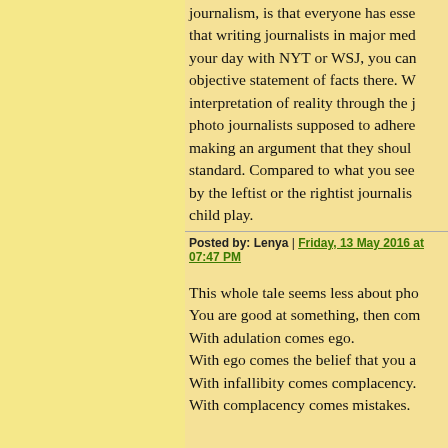journalism, is that everyone has esse that writing journalists in major med your day with NYT or WSJ, you can objective statement of facts there. W interpretation of reality through the j photo journalists supposed to adhere making an argument that they shoul standard. Compared to what you see by the leftist or the rightist journalis child play.
Posted by: Lenya | Friday, 13 May 2016 at 07:47 PM
This whole tale seems less about ph You are good at something, then com With adulation comes ego. With ego comes the belief that you a With infallibity comes complacency. With complacency comes mistakes.